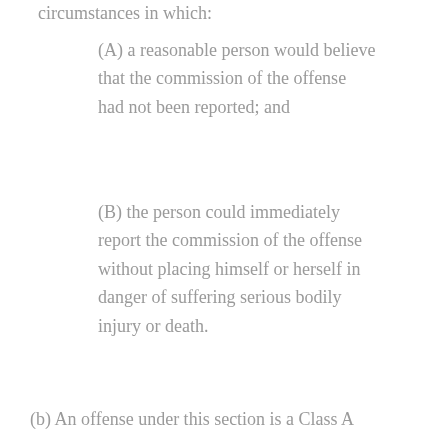circumstances in which:
(A) a reasonable person would believe that the commission of the offense had not been reported; and
(B) the person could immediately report the commission of the offense without placing himself or herself in danger of suffering serious bodily injury or death.
(b) An offense under this section is a Class A